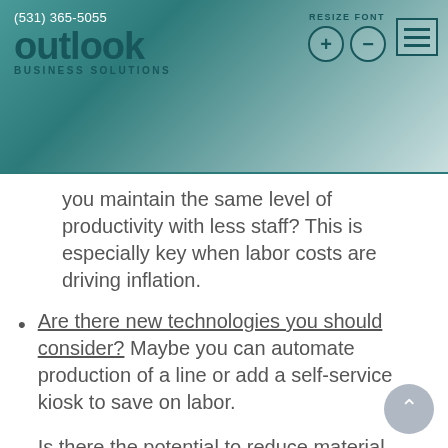(531) 365-5055 | Outlook Business Solutions
you maintain the same level of productivity with less staff? This is especially key when labor costs are driving inflation.
Are there new technologies you should consider? Maybe you can automate production of a line or add a self-service kiosk to save on labor.
Is there the potential to reduce material costs or expenses?